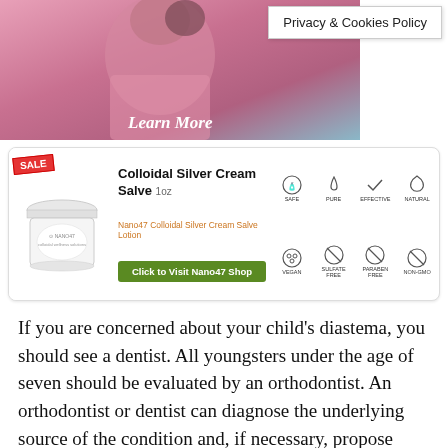[Figure (photo): Photo of a child in a pink shirt, partially visible at top of page, with pink background tones and teal/blue at right. Text 'Learn More' overlaid in white italic.]
Privacy & Cookies Policy
[Figure (other): Advertisement banner for Nano47 Colloidal Silver Cream Salve 1oz with SALE badge, product jar image, green 'Click to Visit Nano47 Shop' button, and icons for Safe, Pure, Effective, Natural, Vegan, Sulfate Free, Paraben Free, Non-GMO, Gluten-Free.]
If you are concerned about your child's diastema, you should see a dentist. All youngsters under the age of seven should be evaluated by an orthodontist. An orthodontist or dentist can diagnose the underlying source of the condition and, if necessary, propose therapy.
A diastema treatment may be unnecessary, especially if there is a size mismatch between the jawbone and the teeth or primary tooth loss. A dentist, on the other hand, can advise you on the best technique to close your gap if it is not medically